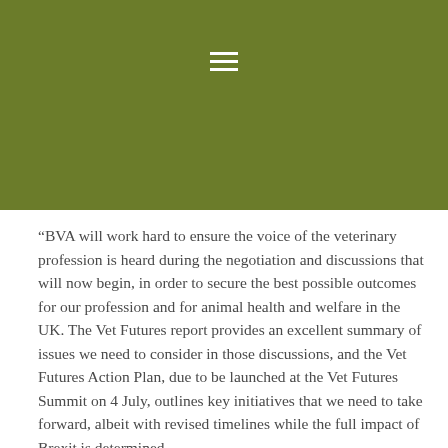[Figure (other): Olive/dark yellow-green header bar with a hamburger menu icon (three horizontal lines) centered at the top]
“BVA will work hard to ensure the voice of the veterinary profession is heard during the negotiation and discussions that will now begin, in order to secure the best possible outcomes for our profession and for animal health and welfare in the UK. The Vet Futures report provides an excellent summary of issues we need to consider in those discussions, and the Vet Futures Action Plan, due to be launched at the Vet Futures Summit on 4 July, outlines key initiatives that we need to take forward, albeit with revised timelines while the full impact of Brexit is determined. “BVA will retain an outward looking and inclusive perspective through our relationships with international partners, including the Federation of Veterinarians for